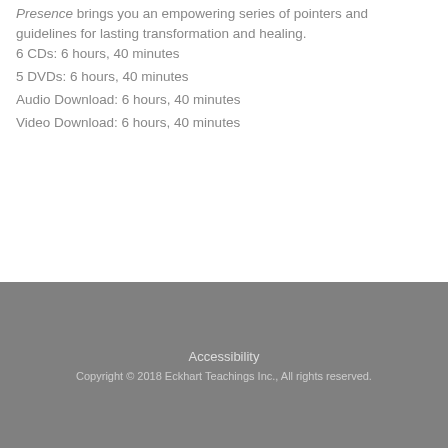Presence brings you an empowering series of pointers and guidelines for lasting transformation and healing.
6 CDs: 6 hours, 40 minutes
5 DVDs: 6 hours, 40 minutes
Audio Download: 6 hours, 40 minutes
Video Download: 6 hours, 40 minutes
Accessibility
Copyright © 2018 Eckhart Teachings Inc., All rights reserved.